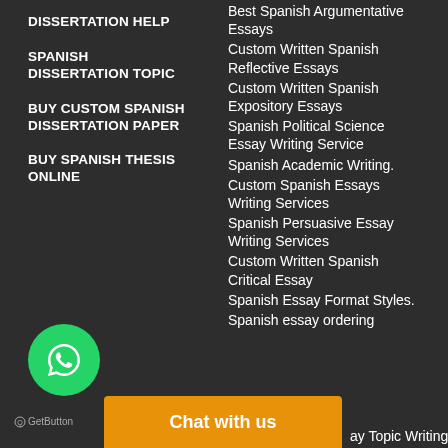DISSERTATION HELP
SPANISH DISSERTATION TOPIC
BUY CUSTOM SPANISH DISSERTATION PAPER
BUY SPANISH THESIS ONLINE
Best Spanish Argumentative Essays
Custom Written Spanish Reflective Essays
Custom Written Spanish Expository Essays
Spanish Political Science Essay Writing Service
Spanish Academic Writing.
Custom Spanish Essays Writing Services
Spanish Persuasive Essay Writing Services
Custom Written Spanish Critical Essay
Spanish Essay Format Styles.
Spanish essay ordering
[Figure (logo): WhatsApp green circle button with phone icon]
GetButton
Chat with us
ay Topic Writing